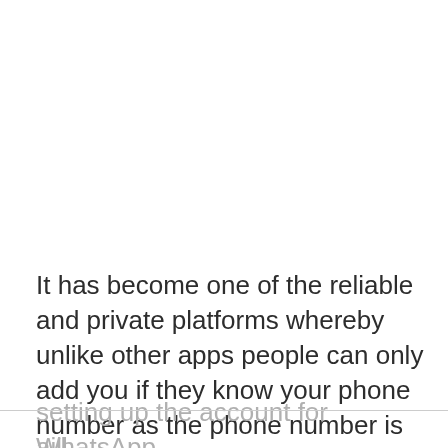It has become one of the reliable and private platforms whereby unlike other apps people can only add you if they know your phone number as the phone number is used while setting up the account for WhatsApp.